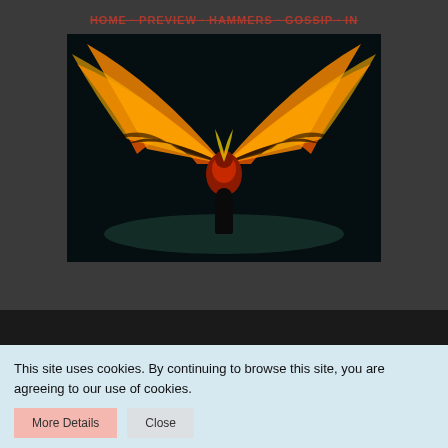HOME · PREVIEW · HAMMERS · GOSSIP · IN
[Figure (photo): A dramatic image of a flaming bird or phoenix with large fiery wings spread wide, dark background, glowing orange and red fire, silhouette of figure below]
WimbledonSW19
This site uses cookies. By continuing to browse this site, you are agreeing to our use of cookies.
More Details
Close